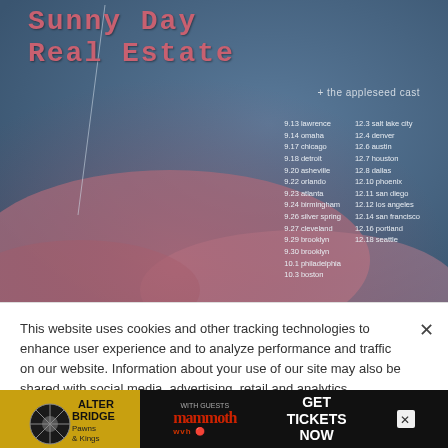[Figure (illustration): Sunny Day Real Estate concert tour poster with dark blue-grey and rose/pink background. Features band name at top left in distressed pink/red text, supporting act listing, and two columns of tour dates on right side.]
Sunny Day Real Estate
+ the appleseed cast
9.13 lawrence
9.14 omaha
9.17 chicago
9.18 detroit
9.20 asheville
9.22 orlando
9.23 atlanta
9.24 birmingham
9.26 silver spring
9.27 cleveland
9.29 brooklyn
9.30 brooklyn
10.1 philadelphia
10.3 boston
12.3 salt lake city
12.4 denver
12.6 austin
12.7 houston
12.8 dallas
12.10 phoenix
12.11 san diego
12.12 los angeles
12.14 san francisco
12.16 portland
12.18 seattle
This website uses cookies and other tracking technologies to enhance user experience and to analyze performance and traffic on our website. Information about your use of our site may also be shared with social media, advertising, retail and analytics providers and partners. Privacy Policy
[Figure (photo): Alter Bridge Pawns & Kings advertisement banner with mammoth wvh and GET TICKETS NOW text]